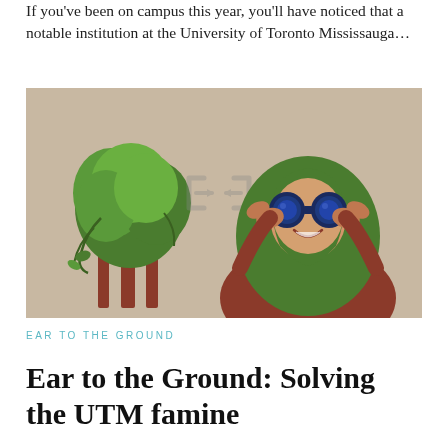If you've been on campus this year, you'll have noticed that a notable institution at the University of Toronto Mississauga…
[Figure (illustration): Illustration showing green trees on the left and a person wearing a green hijab and rust-colored sweater looking through blue binoculars on the right, on a beige background.]
EAR TO THE GROUND
Ear to the Ground: Solving the UTM famine